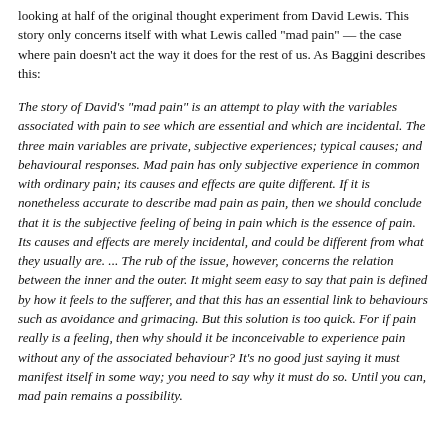looking at half of the original thought experiment from David Lewis. This story only concerns itself with what Lewis called "mad pain" — the case where pain doesn't act the way it does for the rest of us. As Baggini describes this:
The story of David's "mad pain" is an attempt to play with the variables associated with pain to see which are essential and which are incidental. The three main variables are private, subjective experiences; typical causes; and behavioural responses. Mad pain has only subjective experience in common with ordinary pain; its causes and effects are quite different. If it is nonetheless accurate to describe mad pain as pain, then we should conclude that it is the subjective feeling of being in pain which is the essence of pain. Its causes and effects are merely incidental, and could be different from what they usually are. ... The rub of the issue, however, concerns the relation between the inner and the outer. It might seem easy to say that pain is defined by how it feels to the sufferer, and that this has an essential link to behaviours such as avoidance and grimacing. But this solution is too quick. For if pain really is a feeling, then why should it be inconceivable to experience pain without any of the associated behaviour? It's no good just saying it must manifest itself in some way; you need to say why it must do so. Until you can, mad pain remains a possibility.